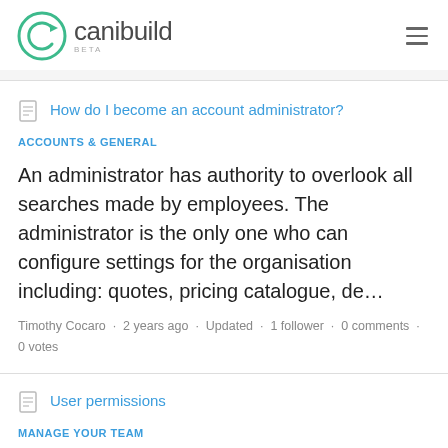[Figure (logo): Canibuild logo with circular C icon and text 'canibuild BETA']
How do I become an account administrator?
ACCOUNTS & GENERAL
An administrator has authority to overlook all searches made by employees. The administrator is the only one who can configure settings for the organisation including: quotes, pricing catalogue, de…
Timothy Cocaro · 2 years ago · Updated · 1 follower · 0 comments · 0 votes
User permissions
MANAGE YOUR TEAM